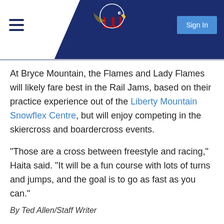Liberty University athletics header with logo and Sign In button
At Bryce Mountain, the Flames and Lady Flames will likely fare best in the Rail Jams, based on their practice experience out of the Liberty Mountain Snowflex Centre, but will enjoy competing in the skiercross and boardercross events.
“Those are a cross between freestyle and racing,” Haita said. “It will be a fun course with lots of turns and jumps, and the goal is to go as fast as you can.”
By Ted Allen/Staff Writer